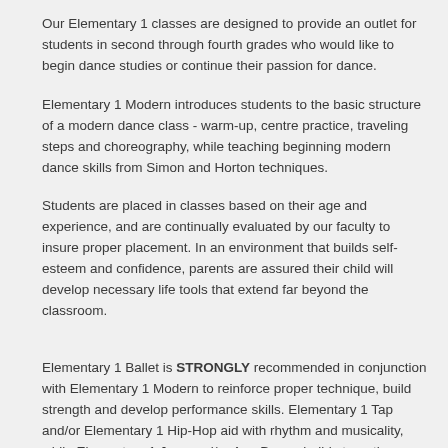Our Elementary 1 classes are designed to provide an outlet for students in second through fourth grades who would like to begin dance studies or continue their passion for dance.
Elementary 1 Modern introduces students to the basic structure of a modern dance class - warm-up, centre practice, traveling steps and choreography, while teaching beginning modern dance skills from Simon and Horton techniques.
Students are placed in classes based on their age and experience, and are continually evaluated by our faculty to insure proper placement. In an environment that builds self-esteem and confidence, parents are assured their child will develop necessary life tools that extend far beyond the classroom.
Elementary 1 Ballet is STRONGLY recommended in conjunction with Elementary 1 Modern to reinforce proper technique, build strength and develop performance skills. Elementary 1 Tap and/or Elementary 1 Hip-Hop aid with rhythm and musicality, while Elementary 1 Jazz and/or AcroDance build strength, coordination and overall body awareness while diversifying